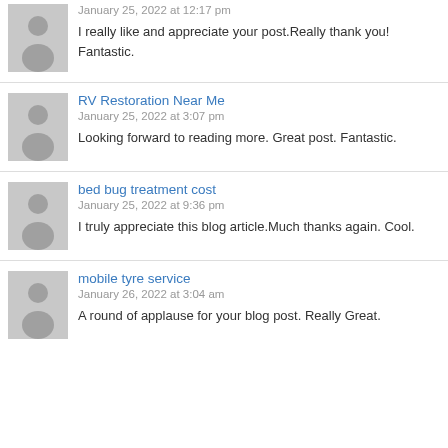January 25, 2022 at 12:17 pm
I really like and appreciate your post.Really thank you! Fantastic.
RV Restoration Near Me
January 25, 2022 at 3:07 pm
Looking forward to reading more. Great post. Fantastic.
bed bug treatment cost
January 25, 2022 at 9:36 pm
I truly appreciate this blog article.Much thanks again. Cool.
mobile tyre service
January 26, 2022 at 3:04 am
A round of applause for your blog post. Really Great.